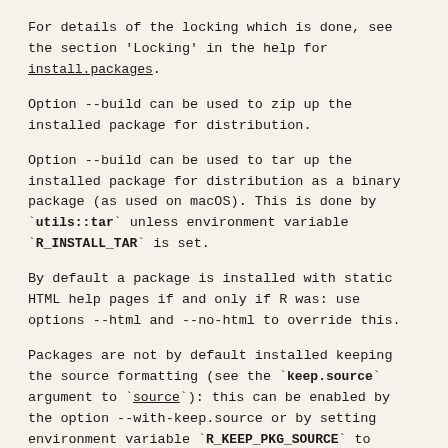For details of the locking which is done, see the section 'Locking' in the help for `install.packages`.
Option --build can be used to zip up the installed package for distribution.
Option --build can be used to tar up the installed package for distribution as a binary package (as used on macOS). This is done by `utils::tar` unless environment variable `R_INSTALL_TAR` is set.
By default a package is installed with static HTML help pages if and only if R was: use options --html and --no-html to override this.
Packages are not by default installed keeping the source formatting (see the `keep.source` argument to `source`): this can be enabled by the option --with-keep.source or by setting environment variable `R_KEEP_PKG_SOURCE` to `yes`.
Use `R CMD INSTALL --help` for concise usage information, including all the available options.
See Also